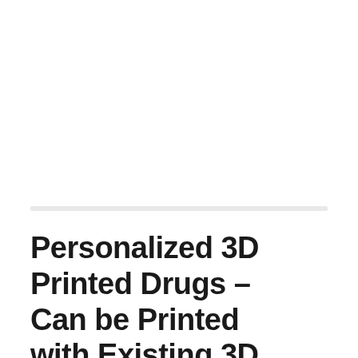Personalized 3D Printed Drugs – Can be Printed with Existing 3D